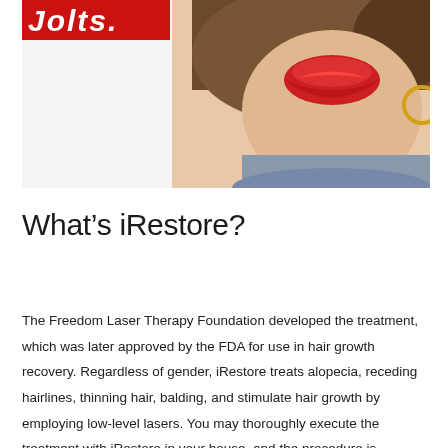[Figure (photo): A woman's face cropped at the lower half showing red lips, hoop earring, brown wavy hair, and a blue top. A red banner with white italic bold text is visible in the upper left corner.]
What’s iRestore?
The Freedom Laser Therapy Foundation developed the treatment, which was later approved by the FDA for use in hair growth recovery. Regardless of gender, iRestore treats alopecia, receding hairlines, thinning hair, balding, and stimulate hair growth by employing low-level lasers. You may thoroughly execute the treatment with iRestore in your house, and the procedure is extremely straightforward.